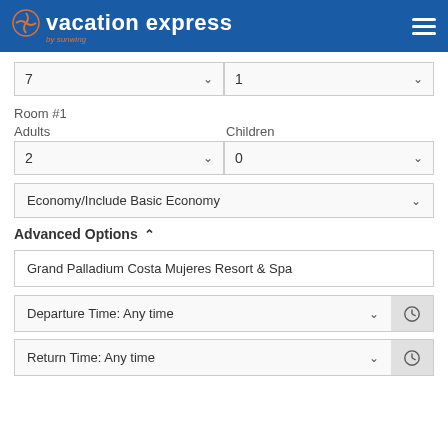[Figure (logo): Vacation Express by Sunwing logo on blue header with hamburger menu icon]
7
1
Room #1
Adults
Children
2
0
Economy/Include Basic Economy
Advanced Options
Grand Palladium Costa Mujeres Resort & Spa
Departure Time: Any time
Return Time: Any time